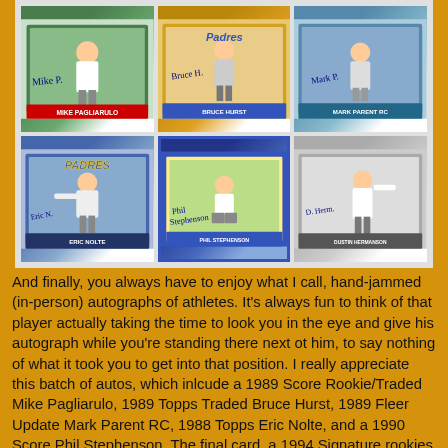[Figure (photo): A collage of six autographed baseball cards arranged in two rows of three on a light gray background. Top row: 1989 Score Rookie/Traded Mike Pagliarulo, 1989 Topps Traded Bruce Hurst (with Padres branding), and 1989 Fleer Update Mark Parent RC. Bottom row: 1988 Topps Eric Nolte (Padres), 1990 Score Phil Stephenson (with blue border), and 1994 Signature Rookies Draft Picks Dustin Hermanson. Each card features a player photo and a blue ink autograph signature.]
And finally, you always have to enjoy what I call, hand-jammed (in-person) autographs of athletes. It's always fun to think of that player actually taking the time to look you in the eye and give his autograph while you're standing there next ot him, to say nothing of what it took you to get into that position. I really appreciate this batch of autos, which inlcude a 1989 Score Rookie/Traded Mike Pagliarulo, 1989 Topps Traded Bruce Hurst, 1989 Fleer Update Mark Parent RC, 1988 Topps Eric Nolte, and a 1990 Score Phil Stephenson. The final card, a 1994 Signature rookies Draft Picks Signatures Dustin Hermanson is actually a "certified"